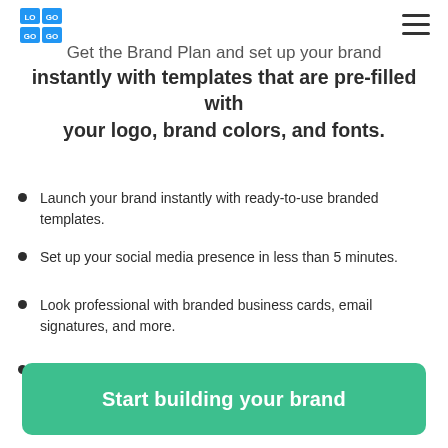LOGO
Get the Brand Plan and set up your brand instantly with templates that are pre-filled with your logo, brand colors, and fonts.
Launch your brand instantly with ready-to-use branded templates.
Set up your social media presence in less than 5 minutes.
Look professional with branded business cards, email signatures, and more.
Seamlessly create hundreds of branding materials, all on one platform.
Start building your brand